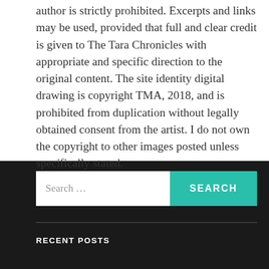author is strictly prohibited. Excerpts and links may be used, provided that full and clear credit is given to The Tara Chronicles with appropriate and specific direction to the original content. The site identity digital drawing is copyright TMA, 2018, and is prohibited from duplication without legally obtained consent from the artist. I do not own the copyright to other images posted unless specifically stated.
Search ...
RECENT POSTS